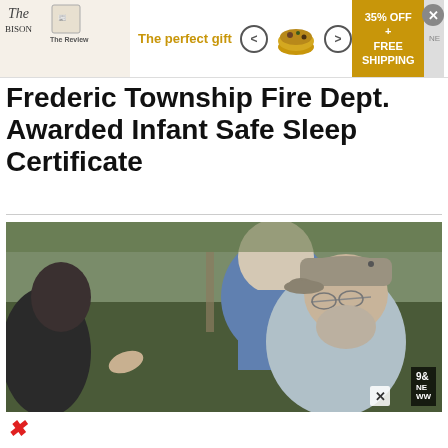[Figure (infographic): Advertisement banner: 'The perfect gift' with food bowl imagery, navigation arrows, 35% OFF + FREE SHIPPING offer in gold box, close button]
Frederic Township Fire Dept. Awarded Infant Safe Sleep Certificate
[Figure (photo): Two older men outdoors, one wearing a blue shirt and the other in a light shirt with a gray/tan baseball cap and glasses with a beard, appearing to be in conversation. A news station logo (9&News) is visible in the bottom right corner.]